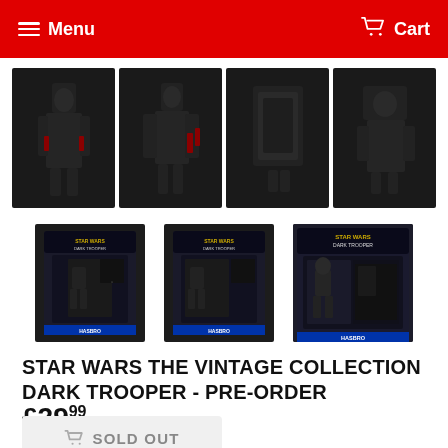Menu  Cart
[Figure (photo): Four product images of Star Wars Dark Trooper action figure showing front, side, back, and detail views in dark armored packaging]
[Figure (photo): Three packaged Star Wars The Vintage Collection Dark Trooper action figures in retail card packaging]
STAR WARS THE VINTAGE COLLECTION DARK TROOPER - PRE-ORDER
£29.99
SOLD OUT